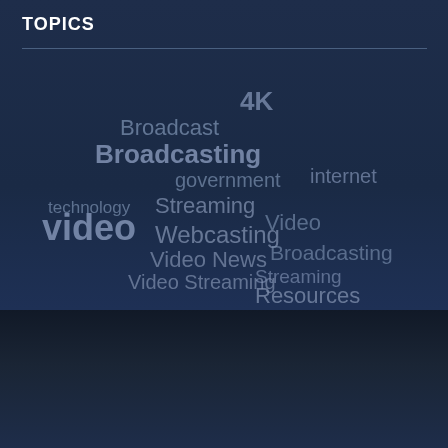TOPICS
[Figure (infographic): Word cloud with overlapping topic tags in various sizes and opacities on a dark blue background. Words include: 4K, Broadcast, Broadcasting, government, internet, Streaming, technology, video, Webcasting, Video News, Video Streaming, Broadcasting, Resources, Tips]
© 2014 Video Streaming Services LLC
All Rights Reserved | Do not duplicate or redistribute in any form.
[Figure (logo): Daveworks Web Development logo with gear icons]
↑ top